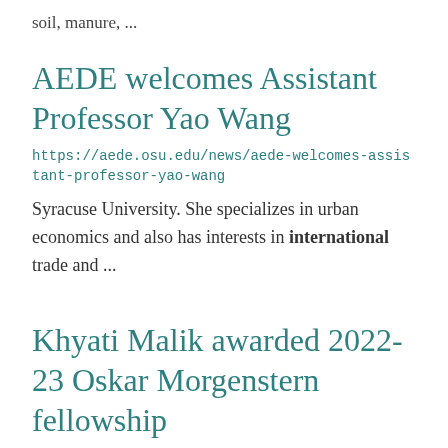soil, manure, ...
AEDE welcomes Assistant Professor Yao Wang
https://aede.osu.edu/news/aede-welcomes-assistant-professor-yao-wang
Syracuse University. She specializes in urban economics and also has interests in international trade and ...
Khyati Malik awarded 2022-23 Oskar Morgenstern fellowship
https://aede.osu.edu/news/khyati-malik-awarded-2022-23-oskar-morgenstern-fellowship
AEDE PhD student, Khyati Malik, has been